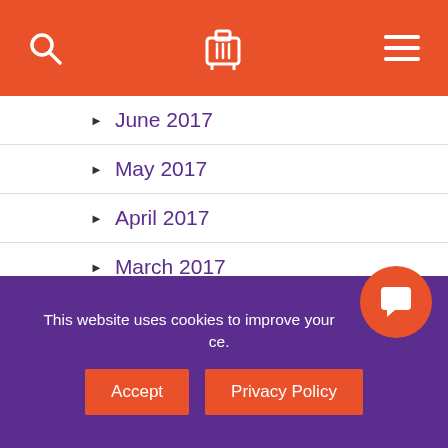Navigation header with search, luggage logo, and menu icons
June 2017
May 2017
April 2017
March 2017
February 2017
January 2017
December 2016
November 2016
October 2016
September 2016
This website uses cookies to improve your experience.
Accept | Privacy Policy